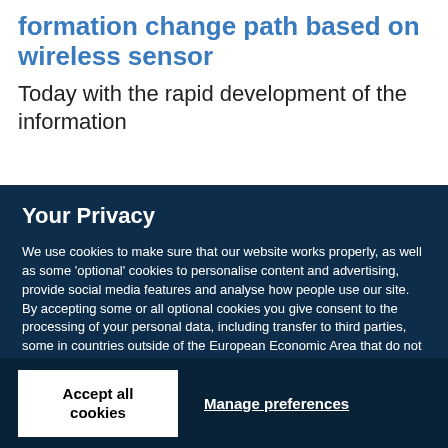formation change path based on wireless sensor
Today with the rapid development of the information
Your Privacy
We use cookies to make sure that our website works properly, as well as some 'optional' cookies to personalise content and advertising, provide social media features and analyse how people use our site. By accepting some or all optional cookies you give consent to the processing of your personal data, including transfer to third parties, some in countries outside of the European Economic Area that do not offer the same data protection standards as the country where you live. You can decide which optional cookies to accept by clicking on 'Manage Settings', where you can also find more information about how your personal data is processed. Further information can be found in our privacy policy.
Accept all cookies
Manage preferences